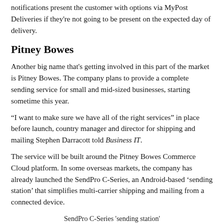notifications present the customer with options via MyPost Deliveries if they're not going to be present on the expected day of delivery.
Pitney Bowes
Another big name that's getting involved in this part of the market is Pitney Bowes. The company plans to provide a complete sending service for small and mid-sized businesses, starting sometime this year.
“I want to make sure we have all of the right services” in place before launch, country manager and director for shipping and mailing Stephen Darracott told Business IT.
The service will be built around the Pitney Bowes Commerce Cloud platform. In some overseas markets, the company has already launched the SendPro C-Series, an Android-based ‘sending station’ that simplifies multi-carrier shipping and mailing from a connected device.
SendPro C-Series 'sending station'
Companies such as Sendle, Shippit and Zoom2u (to name just three) are